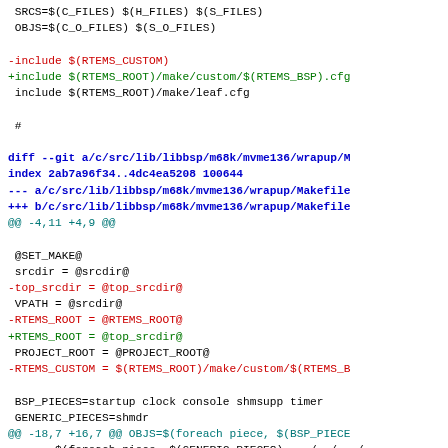[Figure (screenshot): A diff/patch output showing changes to RTEMS BSP Makefile files, displayed with syntax highlighting: red for removed lines, green for added lines, blue for diff headers, cyan for hunk headers, and black for context lines.]